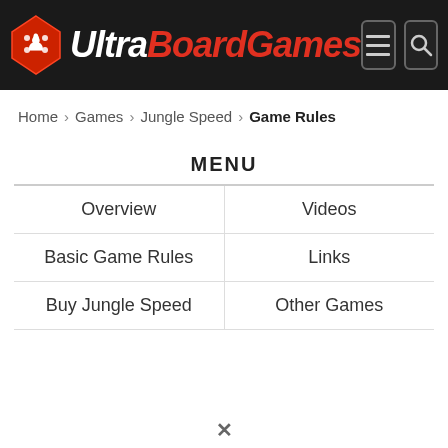UltraBoardGames
Home > Games > Jungle Speed > Game Rules
MENU
| Overview | Videos |
| Basic Game Rules | Links |
| Buy Jungle Speed | Other Games |